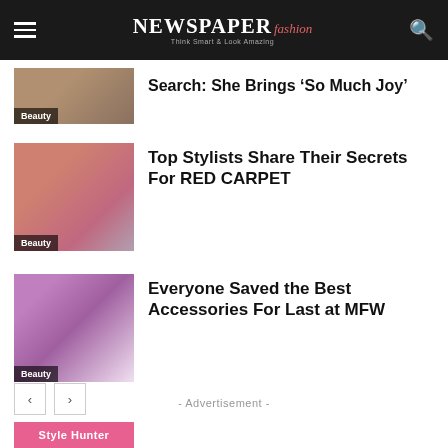NEWSPAPER fashion — Think Smart & Look Amazing
[Figure (photo): Partial thumbnail of a woman, Beauty category badge]
Search: She Brings ‘So Much Joy’
[Figure (photo): Woman wearing a pink/red hat, Beauty category badge]
Top Stylists Share Their Secrets For RED CARPET
[Figure (photo): Woman with long brown hair against purple background, Beauty category badge]
Everyone Saved the Best Accessories For Last at MFW
- Advertisement -
Style Hunter